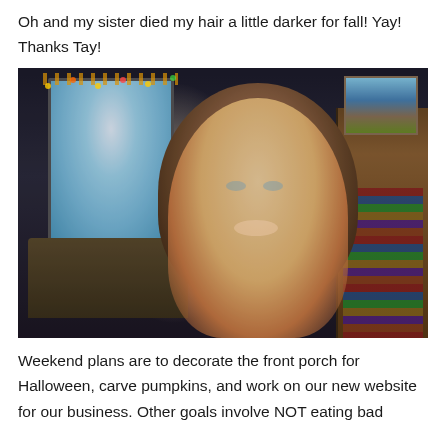Oh and my sister died my hair a little darker for fall! Yay! Thanks Tay!
[Figure (photo): A smiling young woman with long wavy dark-blonde hair wearing a mauve/pink cardigan, sitting in front of a bright window with fairy lights, a bookcase on the right, and a dark sofa on the left.]
Weekend plans are to decorate the front porch for Halloween, carve pumpkins, and work on our new website for our business. Other goals involve NOT eating bad